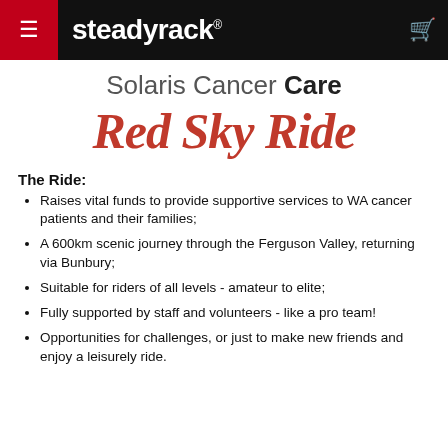steadyrack
Solaris Cancer Care Red Sky Ride
The Ride:
Raises vital funds to provide supportive services to WA cancer patients and their families;
A 600km scenic journey through the Ferguson Valley, returning via Bunbury;
Suitable for riders of all levels - amateur to elite;
Fully supported by staff and volunteers - like a pro team!
Opportunities for challenges, or just to make new friends and enjoy a leisurely ride.